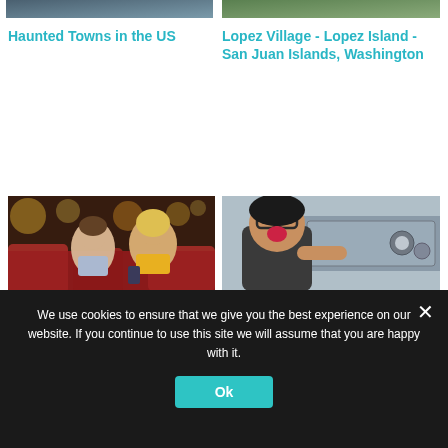[Figure (photo): Partially visible photo of a haunted town or building at top left]
[Figure (photo): Partially visible photo of Lopez Island / San Juan Islands at top right]
Haunted Towns in the US
Lopez Village - Lopez Island - San Juan Islands, Washington
[Figure (photo): People watching a movie in a cinema, couple smiling with drinks]
[Figure (photo): Woman at a food truck window, excited expression]
A Film Lover's New York
Awesome Food Trucks in the US
by shareaholic
We use cookies to ensure that we give you the best experience on our website. If you continue to use this site we will assume that you are happy with it.